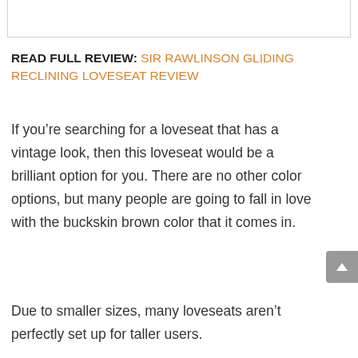[Figure (other): Top portion of a white rounded-border content box, partially visible at the top of the page]
READ FULL REVIEW: SIR RAWLINSON GLIDING RECLINING LOVESEAT REVIEW
If you’re searching for a loveseat that has a vintage look, then this loveseat would be a brilliant option for you. There are no other color options, but many people are going to fall in love with the buckskin brown color that it comes in.
Due to smaller sizes, many loveseats aren’t perfectly set up for taller users.